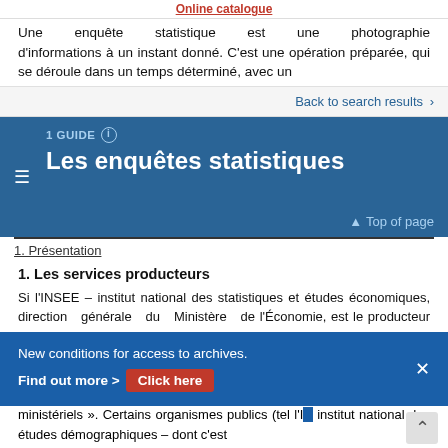Online catalogue
Une enquête statistique est une photographie d'informations à un instant donné. C'est une opération préparée, qui se déroule dans un temps déterminé, avec un
Back to search results ›
1 GUIDE
Les enquêtes statistiques
Top of page
1. Présentation
1. Les services producteurs
Si l'INSEE – institut national des statistiques et études économiques, direction générale du Ministère de l'Économie, est le producteur de statistiques le plus connu,
New conditions for access to archives. Find out more > Click here
ministériels ». Certains organismes publics (tel l'IN institut national des études démographiques – dont c'est